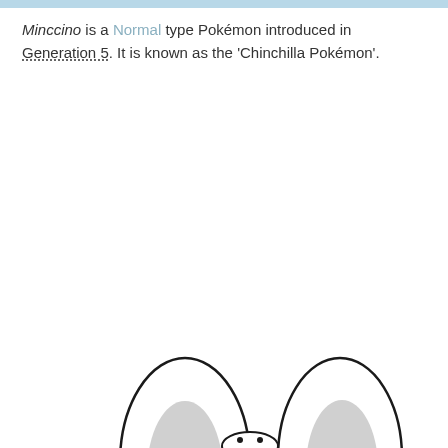Minccino is a Normal type Pokémon introduced in Generation 5. It is known as the 'Chinchilla Pokémon'.
[Figure (illustration): Partial illustration of Minccino (Chinchilla Pokémon) showing the tops of its two large white ears with gray inner ear shading, and a small portion of its face/body at the bottom of the page.]